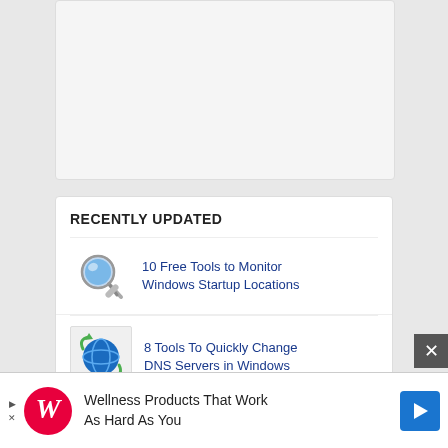[Figure (screenshot): Gray card placeholder at top]
RECENTLY UPDATED
10 Free Tools to Monitor Windows Startup Locations
8 Tools To Quickly Change DNS Servers in Windows
8 Text Replacement Tools To
ADVERTISEMENT
Wellness Products That Work As Hard As You